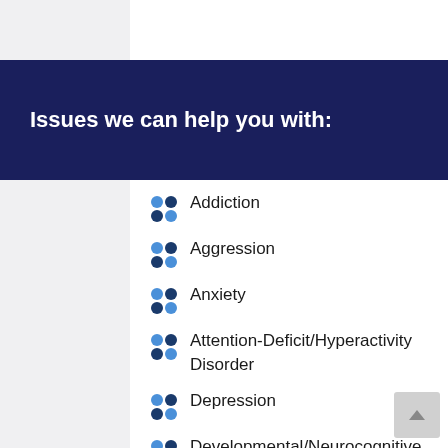Issues we can help you with:
Addiction
Aggression
Anxiety
Attention-Deficit/Hyperactivity Disorder
Depression
Developmental/Neurocognitive Disabilities
Divorce/Separation